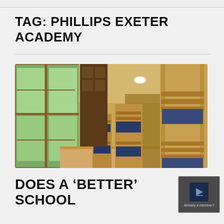TAG: PHILLIPS EXETER ACADEMY
[Figure (photo): Interior dormitory hallway with wooden bunk beds on the right side and large floor-to-ceiling windows on the left showing trees outside. Light wood flooring, warm yellow walls, and recessed lighting.]
DOES A 'BETTER' SCHOOL